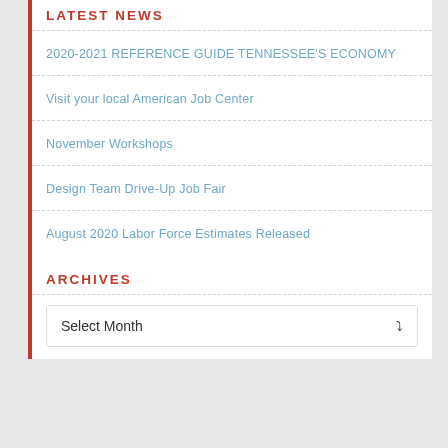LATEST NEWS
2020-2021 REFERENCE GUIDE TENNESSEE'S ECONOMY
Visit your local American Job Center
November Workshops
Design Team Drive-Up Job Fair
August 2020 Labor Force Estimates Released
ARCHIVES
Select Month